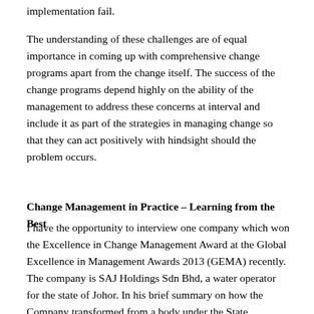implementation fail.
The understanding of these challenges are of equal importance in coming up with comprehensive change programs apart from the change itself. The success of the change programs depend highly on the ability of the management to address these concerns at interval and include it as part of the strategies in managing change so that they can act positively with hindsight should the problem occurs.
Change Management in Practice – Learning from the Best
I have the opportunity to interview one company which won the Excellence in Change Management Award at the Global Excellence in Management Awards 2013 (GEMA) recently. The company is SAJ Holdings Sdn Bhd, a water operator for the state of Johor. In his brief summary on how the Company transformed from a body under the State Government to dynamic company that it was now, Encik Ikmal Hisham Rahim, Head of Human Resource for the company highlighted to us the journey of transformation from...